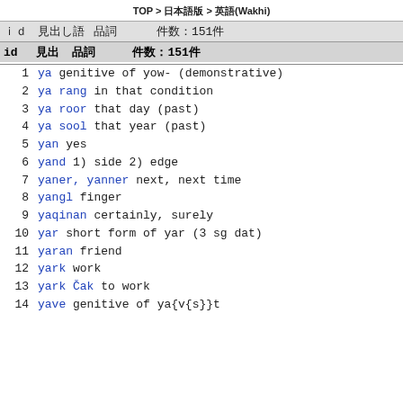TOP > 日本語版 > 英語(Wakhi)
| id | 見出し語 | 品詞 | 件数:151件 |
| --- | --- | --- | --- |
| 1 | ya |  | genitive of yow- (demonstrative) |
| 2 | ya rang |  | in that condition |
| 3 | ya roor |  | that day (past) |
| 4 | ya sool |  | that year (past) |
| 5 | yan |  | yes |
| 6 | yand |  | 1) side 2) edge |
| 7 | yaner, yanner |  | next, next time |
| 8 | yangl |  | finger |
| 9 | yaqinan |  | certainly, surely |
| 10 | yar |  | short form of yar (3 sg dat) |
| 11 | yaran |  | friend |
| 12 | yark |  | work |
| 13 | yark Čak |  | to work |
| 14 | yave |  | genitive of ya{v{s}}t |